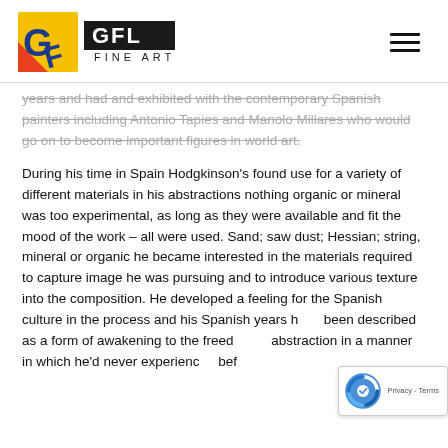[Figure (logo): GFL Fine Art logo with colorful GF icon and black GFL Fine Art text]
years and had and exhibited with the contemporary Spanish painters including Antonio Tapies and Manolo Millares who would go on to become important figures in world art.
During his time in Spain Hodgkinson's found use for a variety of different materials in his abstractions nothing organic or mineral was too experimental, as long as they were available and fit the mood of the work – all were used. Sand; saw dust; Hessian; string, mineral or organic he became interested in the materials required to capture image he was pursuing and to introduce various texture into the composition. He developed a feeling for the Spanish culture in the process and his Spanish years have been described as a form of awakening to the freedom of abstraction in a manner in which he'd never experienced before.